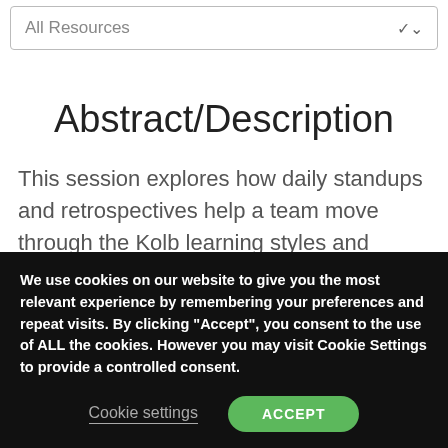All Resources
Abstract/Description
This session explores how daily standups and retrospectives help a team move through the Kolb learning styles and continue learning from their experiences.
We use cookies on our website to give you the most relevant experience by remembering your preferences and repeat visits. By clicking “Accept”, you consent to the use of ALL the cookies. However you may visit Cookie Settings to provide a controlled consent.
Cookie settings   ACCEPT